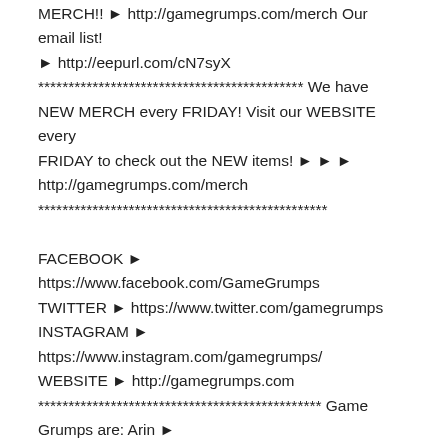MERCH!! ► http://gamegrumps.com/merch Our email list! ► http://eepurl.com/cN7syX ******************************************** We have NEW MERCH every FRIDAY! Visit our WEBSITE every FRIDAY to check out the NEW items! ► ► ► http://gamegrumps.com/merch ************************************************ FACEBOOK ► https://www.facebook.com/GameGrumps TWITTER ► https://www.twitter.com/gamegrumps INSTAGRAM ► https://www.instagram.com/gamegrumps/ WEBSITE ► http://gamegrumps.com *********************************************** Game Grumps are: Arin ► http://www.youtube.com/Egoraptor Danny ► ... Read More »
Category: КВН Метки: ..., arin, comedy, danny, egoraptor, Funny, game grumps, game grumps live stream, game grumps livestream, gamegrumps, GAMEPLAY, Gaming, kvn,